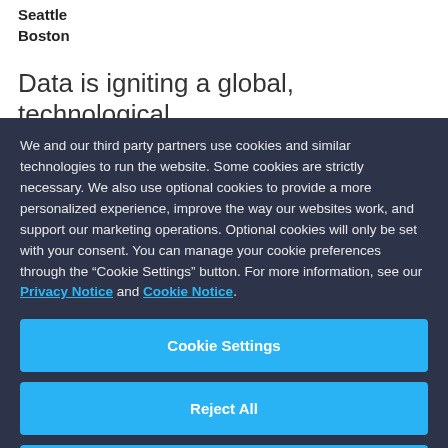Seattle
Boston
Data is igniting a global, technological
We and our third party partners use cookies and similar technologies to run the website. Some cookies are strictly necessary. We also use optional cookies to provide a more personalized experience, improve the way our websites work, and support our marketing operations. Optional cookies will only be set with your consent. You can manage your cookie preferences through the “Cookie Settings” button. For more information, see our Privacy Notice and Cookie Notice.
Cookie Settings
Reject All